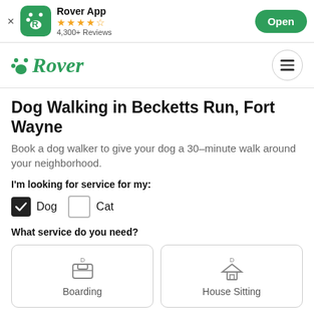Rover App  4,300+ Reviews  Open
[Figure (logo): Rover logo with paw print and hamburger menu]
Dog Walking in Becketts Run, Fort Wayne
Book a dog walker to give your dog a 30-minute walk around your neighborhood.
I'm looking for service for my:
Dog (checked), Cat (unchecked)
What service do you need?
Boarding
House Sitting